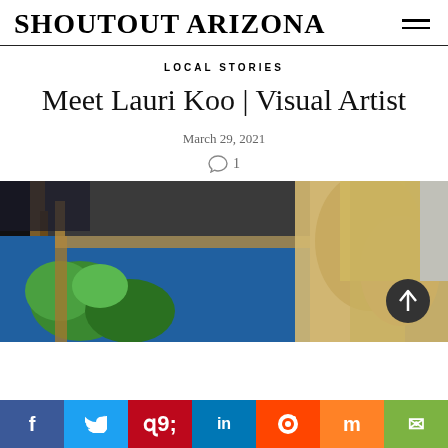SHOUTOUT ARIZONA
LOCAL STORIES
Meet Lauri Koo | Visual Artist
March 29, 2021
1
[Figure (photo): Woman with blonde hair looking at a painting on an easel; colorful blue and green artwork visible on the left side of the image.]
Social share bar: Facebook, Twitter, Pinterest, LinkedIn, Reddit, Mix, Email